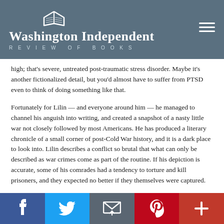Washington Independent
REVIEW OF BOOKS
high; that's severe, untreated post-traumatic stress disorder. Maybe it's another fictionalized detail, but you'd almost have to suffer from PTSD even to think of doing something like that.
Fortunately for Lilin — and everyone around him — he managed to channel his anguish into writing, and created a snapshot of a nasty little war not closely followed by most Americans. He has produced a literary chronicle of a small corner of post-Cold War history, and it is a dark place to look into. Lilin describes a conflict so brutal that what can only be described as war crimes come as part of the routine. If his depiction is accurate, some of his comrades had a tendency to torture and kill prisoners, and they expected no better if they themselves were captured.
Sniper does not follow the typical narrative arc of a military thriller; it's more a series of related vignettes. Lilin's scenes read much like